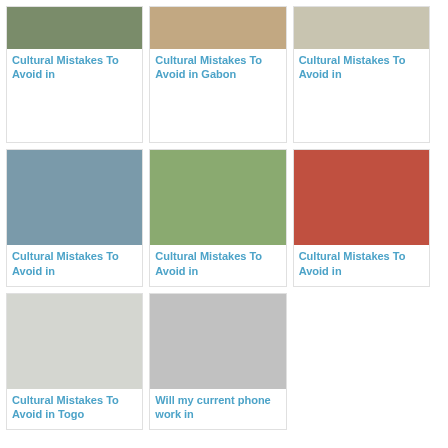[Figure (photo): Photo of animals, partially cropped at top]
Cultural Mistakes To Avoid in
[Figure (photo): Photo of a carved wooden figure, partially cropped at top]
Cultural Mistakes To Avoid in Gabon
[Figure (photo): Photo of a building facade, partially cropped at top]
Cultural Mistakes To Avoid in
[Figure (photo): Photo of a stone fountain in a park]
Cultural Mistakes To Avoid in
[Figure (photo): Photo of a group of people in colorful outfits outdoors]
Cultural Mistakes To Avoid in
[Figure (photo): Photo of a person in a red and white traditional mask costume]
Cultural Mistakes To Avoid in
[Figure (photo): Photo of animals/cows in a field, faded]
Cultural Mistakes To Avoid in Togo
[Figure (photo): Photo of a group of people, faded]
Will my current phone work in